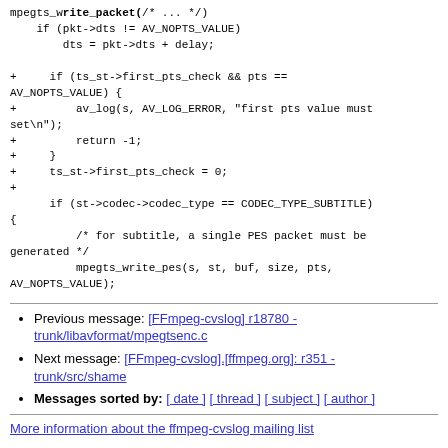mpegts_write_packet(/* ... */)
    if (pkt->dts != AV_NOPTS_VALUE)
        dts = pkt->dts + delay;

+     if (ts_st->first_pts_check && pts ==
AV_NOPTS_VALUE) {
+         av_log(s, AV_LOG_ERROR, "first pts value must
set\n");
+         return -1;
+     }
+     ts_st->first_pts_check = 0;
+
      if (st->codec->codec_type == CODEC_TYPE_SUBTITLE)
{
          /* for subtitle, a single PES packet must be
generated */
          mpegts_write_pes(s, st, buf, size, pts,
AV_NOPTS_VALUE);
Previous message: [FFmpeg-cvslog] r18780 - trunk/libavformat/mpegtsenc.c
Next message: [FFmpeg-cvslog].[ffmpeg.org]: r351 - trunk/src/shame
Messages sorted by: [ date ] [ thread ] [ subject ] [ author ]
More information about the ffmpeg-cvslog mailing list